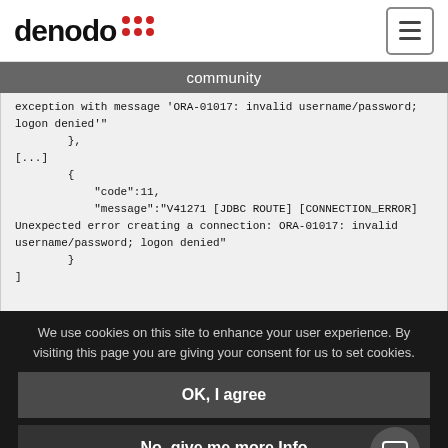denodo [logo] | hamburger menu
community
exception with message 'ORA-01017: invalid username/password; logon denied'"
        },
[...]
        {
            "code":11,
            "message":"V41271 [JDBC ROUTE] [CONNECTION_ERROR] Unexpected error creating a connection: ORA-01017: invalid username/password; logon denied"
        }
]
We use cookies on this site to enhance your user experience. By visiting this page you are giving your consent for us to set cookies.
OK, I agree
No, give me more Info